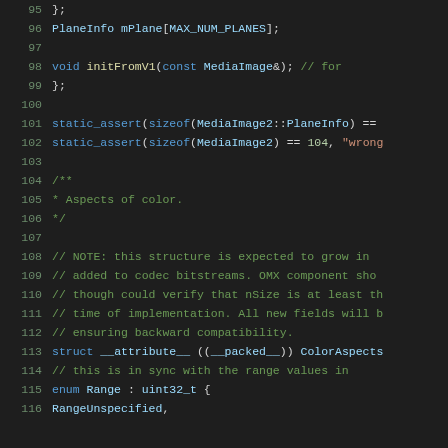Source code listing, lines 95-116, C++ header file with struct definitions and comments about MediaImage2, PlaneInfo, static_assert, and ColorAspects struct with Range enum.